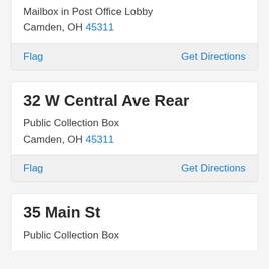Mailbox in Post Office Lobby
Camden, OH 45311
Flag    Get Directions
32 W Central Ave Rear
Public Collection Box
Camden, OH 45311
Flag    Get Directions
35 Main St
Public Collection Box